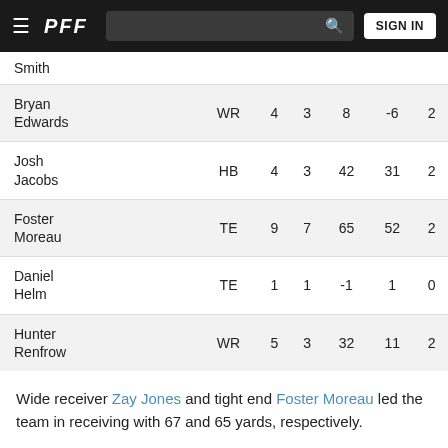PFF — navigation bar with search and SIGN IN
| Player | Pos |  |  |  |  |  |
| --- | --- | --- | --- | --- | --- | --- |
| Smith |  |  |  |  |  |  |
| Bryan Edwards | WR | 4 | 3 | 8 | -6 | 2 |
| Josh Jacobs | HB | 4 | 3 | 42 | 31 | 2 |
| Foster Moreau | TE | 9 | 7 | 65 | 52 | 2 |
| Daniel Helm | TE | 1 | 1 | -1 | 1 | 0 |
| Hunter Renfrow | WR | 5 | 3 | 32 | 11 | 2 |
Wide receiver Zay Jones and tight end Foster Moreau led the team in receiving with 67 and 65 yards, respectively.
Slot superstar Hunter Renfrow was held to just 32 yards on five targets, as he was often double-teamed in high-